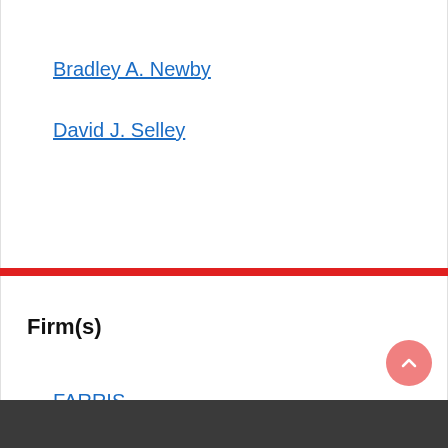Bradley A. Newby
David J. Selley
Firm(s)
FARRIS